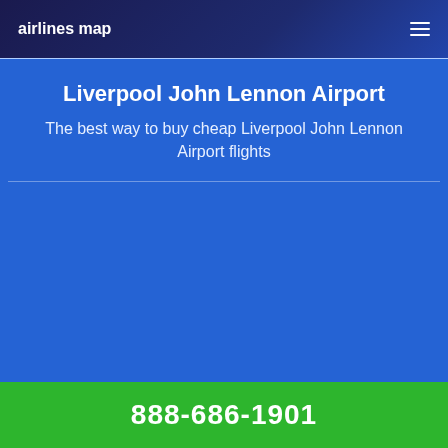airlines map
Liverpool John Lennon Airport
The best way to buy cheap Liverpool John Lennon Airport flights
888-686-1901